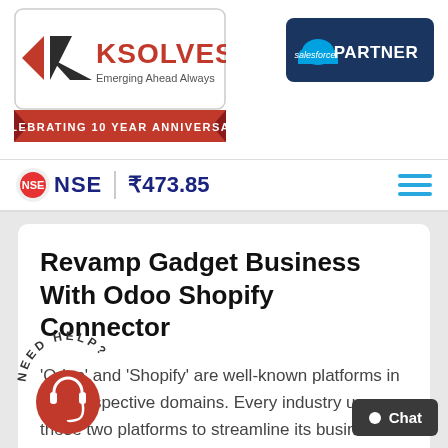[Figure (logo): Ksolves logo with 'Emerging Ahead Always' tagline and 'Celebrating 10 Year Anniversary' red ribbon banner]
[Figure (logo): Salesforce Partner dark blue badge with Salesforce logo and PARTNER text]
NSE ₹473.85
Revamp Gadget Business With Odoo Shopify Connector
'Odoo' and 'Shopify' are well-known platforms in their respective domains. Every industry uses these two platforms to streamline its business [...]
Read More →
[Figure (illustration): NEED HELP? circular text arc above a red circle with headset/support icon]
Chat